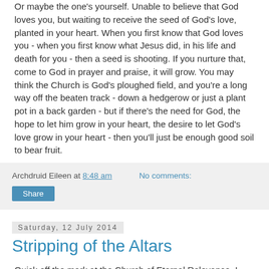Or maybe the one's yourself. Unable to believe that God loves you, but waiting to receive the seed of God's love, planted in your heart. When you first know that God loves you - when you first know what Jesus did, in his life and death for you - then a seed is shooting. If you nurture that, come to God in prayer and praise, it will grow. You may think the Church is God's ploughed field, and you're a long way off the beaten track - down a hedgerow or just a plant pot in a back garden - but if there's the need for God, the hope to let him grow in your heart, the desire to let God's love grow in your heart - then you'll just be enough good soil to bear fruit.
Archdruid Eileen at 8:48 am   No comments:
Share
Saturday, 12 July 2014
Stripping of the Altars
Quick off the mark at the Church of Eternal Relevance, I hear.